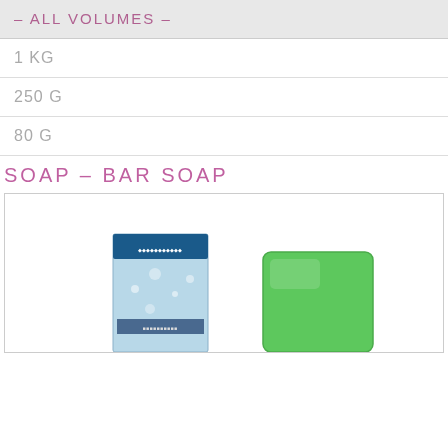- ALL VOLUMES -
1 KG
250 G
80 G
SOAP - BAR SOAP
[Figure (photo): Product image showing a boxed soap product with blue/ocean design and a green bar of soap next to it]